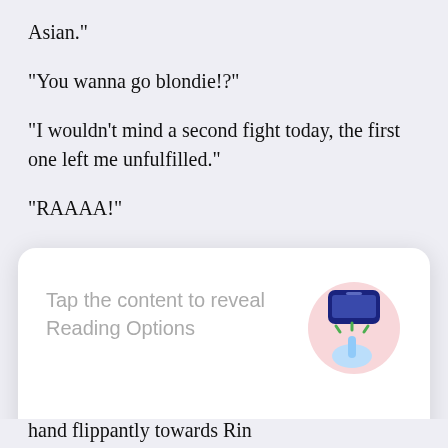Asian."
"You wanna go blondie!?"
"I wouldn't mind a second fight today, the first one left me unfulfilled."
"RAAAA!"
"Gorilla, keeping roaring, Miss Gorilla."
"Ri...
[Figure (screenshot): A modal UI overlay on a reading app saying 'Tap the content to reveal Reading Options' with an illustration of a hand tapping a phone, and a 'GOT IT' button at the bottom.]
hand flippantly towards Rin